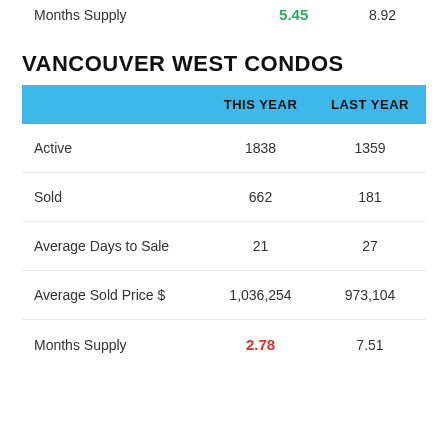|  | THIS YEAR | LAST YEAR |
| --- | --- | --- |
| Months Supply | 5.45 | 8.92 |
VANCOUVER WEST CONDOS
|  | THIS YEAR | LAST YEAR |
| --- | --- | --- |
| Active | 1838 | 1359 |
| Sold | 662 | 181 |
| Average Days to Sale | 21 | 27 |
| Average Sold Price $ | 1,036,254 | 973,104 |
| Months Supply | 2.78 | 7.51 |